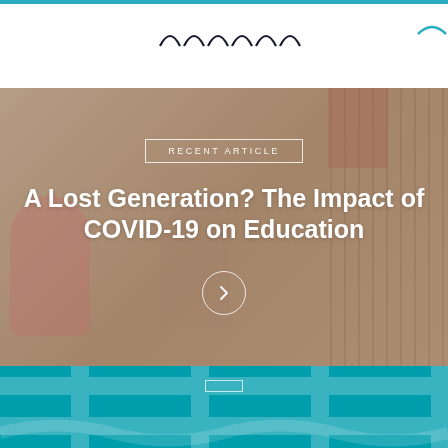Navigation logo/menu area with wave logo marks
[Figure (photo): Background photo of children playing outside a rustic wooden building, overlaid with semi-transparent warm tone. Contains 'RECENT ARTICLE' badge and article title text overlay.]
A Lost Generation? The Impact of COVID-19 on Education
[Figure (infographic): Teal/cyan colored bottom section with geometric cross pattern overlay and a bordered badge label.]